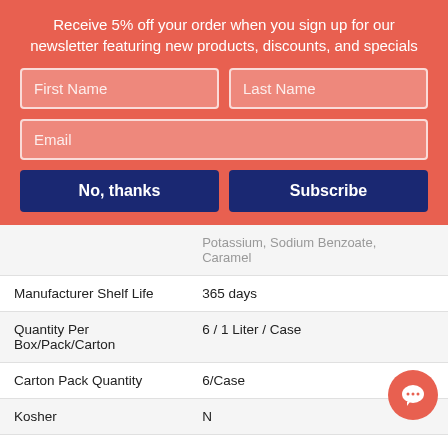Receive 5% off your order when you sign up for our newsletter featuring new products, discounts, and specials
First Name | Last Name | Email (form fields)
No, thanks | Subscribe (buttons)
| Property | Value |
| --- | --- |
|  | Potassium, Sodium Benzoate, Caramel |
| Manufacturer Shelf Life | 365 days |
| Quantity Per Box/Pack/Carton | 6 / 1 Liter / Case |
| Carton Pack Quantity | 6/Case |
| Kosher | N |
| UPC | 10312547701522 |
| Manufacturer | Pfizer Consumer Health - J&J |
| Country of Origin | United States |
| MPN | 54716... |